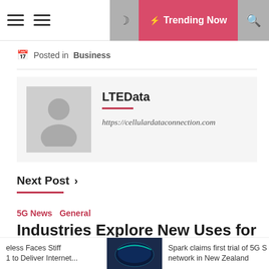Trending Now
Posted in Business
[Figure (other): Author profile card with avatar silhouette, name LTEData, and URL https://cellulardataconnection.com]
Next Post >
5G News  General
Industries Explore New Uses for 5G
eless Faces Stiff
1 to Deliver Internet...   Spark claims first trial of 5G S
network in New Zealand